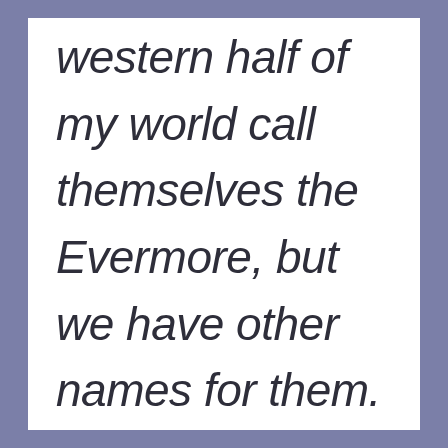western half of my world call themselves the Evermore, but we have other names for them.